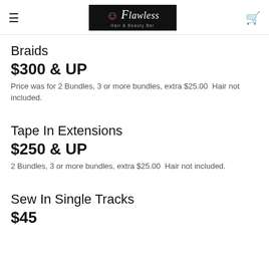Flawless Hair & Beauty Bar — navigation header with hamburger menu and cart icon
Braids
$300 & UP
Price was for 2 Bundles, 3 or more bundles, extra $25.00  Hair not included.
Tape In Extensions
$250 & UP
2 Bundles, 3 or more bundles, extra $25.00  Hair not included.
Sew In Single Tracks
$45